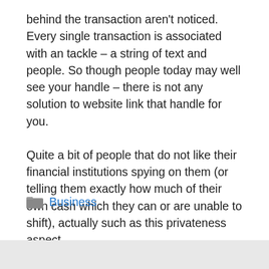behind the transaction aren't noticed. Every single transaction is associated with an tackle – a string of text and people. So though people today may well see your handle – there is not any solution to website link that handle for you.
Quite a bit of people that do not like their financial institutions spying on them (or telling them exactly how much of their own cash which they can or are unable to shift), actually such as this privateness aspect.
Business